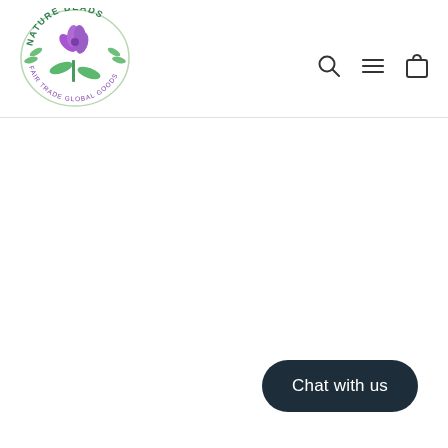[Figure (logo): Nature Beads logo: circular badge with purple flowers and green leaves in the center, green text 'NATURE BEADS' at top, purple text 'FAIR TRADE GLOBAL GOODS' around the bottom arc]
[Figure (other): Navigation icons: search (magnifying glass), hamburger menu (three horizontal lines), shopping bag icon]
Chat with us